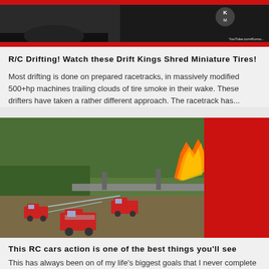[Figure (photo): Dark background thumbnail image with red bars top and bottom, logo area top right showing bear logo and text, YouTube credit bottom right]
R/C Drifting! Watch these Drift Kings Shred Miniature Tires!
Most drifting is done on prepared racetracks, in massively modified 500+hp machines trailing clouds of tire smoke in their wake. These drifters have taken a rather different approach. The racetrack has...
[Figure (photo): Aerial view of RC fire trucks spraying water on a burning bridge structure in a grassy outdoor area, with red panel on right side]
This RC cars action is one of the best things you’ll see today!
This has always been on of my life's biggest goals that I never complete because my parents thought I will not be no more